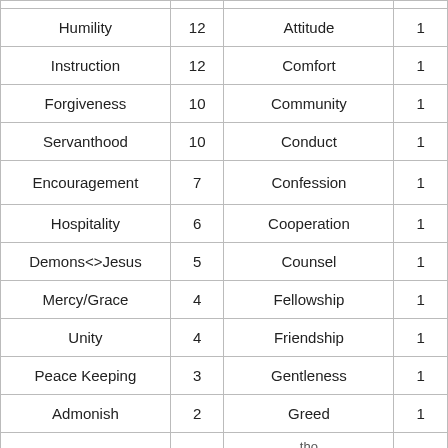| Humility | 12 | Attitude | 1 |
| Instruction | 12 | Comfort | 1 |
| Forgiveness | 10 | Community | 1 |
| Servanthood | 10 | Conduct | 1 |
| Encouragement | 7 | Confession | 1 |
| Hospitality | 6 | Cooperation | 1 |
| Demons<>Jesus | 5 | Counsel | 1 |
| Mercy/Grace | 4 | Fellowship | 1 |
| Unity | 4 | Friendship | 1 |
| Peace Keeping | 3 | Gentleness | 1 |
| Admonish | 2 | Greed | 1 |
|  |  | ... |  |